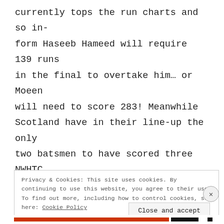currently tops the run charts and so inform Haseeb Hameed will require 139 runs in the final to overtake him… or Moeen will need to score 283! Meanwhile Scotland have in their line-up the only two batsmen to have scored three NWHTC centuries. Mortier's 178 toppled Trujillo's best by one run to be the league stage's top knock.
Privacy & Cookies: This site uses cookies. By continuing to use this website, you agree to their use. To find out more, including how to control cookies, see here: Cookie Policy